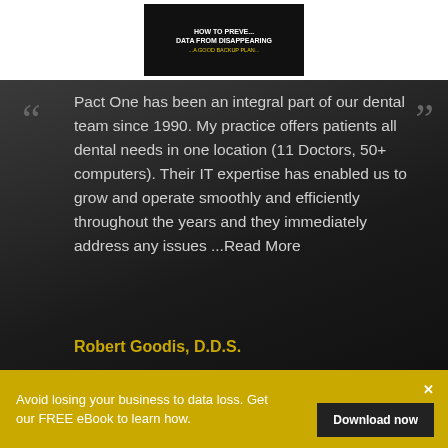[Figure (photo): Book cover showing text 'HOW TO PREVENT DATA FROM DISAPPEARING' on a dark background]
Pact One has been an integral part of our dental team since 1990. My practice offers patients all dental needs in one location (11 Doctors, 50+ computers). Their IT expertise has enabled us to grow and operate smoothly and efficiently throughout the years and they immediately address any issues ...Read More
Robert Goodis, D.D.S.
Avoid losing your business to data loss. Get our FREE eBook to learn how.
Download now